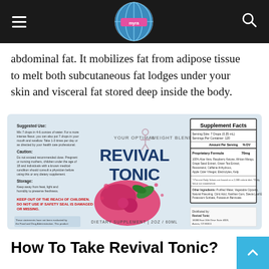[navigation bar with logo, hamburger menu, and search icon]
abdominal fat. It mobilizes fat from adipose tissue to melt both subcutaneous fat lodges under your skin and visceral fat stored deep inside the body.
[Figure (photo): Revival Tonic dietary supplement product label showing supplement facts, suggested use, cautions, storage instructions, and a raspberry-themed product image. Label reads: YOUR OPTIMAL WEIGHT BLEND - REVIVAL TONIC - DIETARY SUPPLEMENT 2OZ / 60ML]
How To Take Revival Tonic?
Revival Tonic is very easy to prepare. All you have to do is add